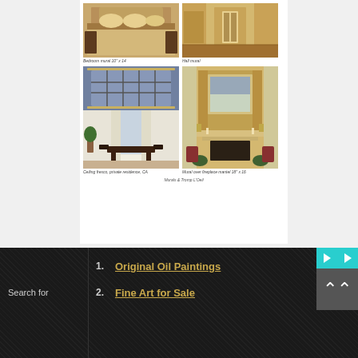[Figure (photo): Bedroom interior photo, top left, described as 'Bedroom mural 10 x 14']
Bedroom mural 10" x 14
[Figure (photo): Hall mural interior photo, top right]
Hall mural
[Figure (photo): Ceiling fresco in a private residence, with skylights and dining table below]
Ceiling fresco, private residence, CA
[Figure (photo): Mural over fireplace mantel interior photo]
Mural over fireplace mantel 18" x 16
Murals & Tromp L'Oeil
1. Original Oil Paintings
2. Fine Art for Sale
Search for